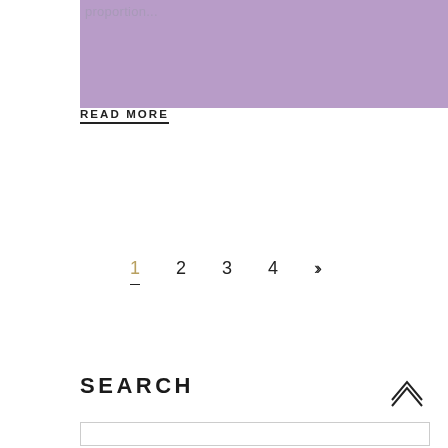[Figure (illustration): Purple/lavender colored block image at top of page]
proportion...
READ MORE
1  2  3  4  »
SEARCH